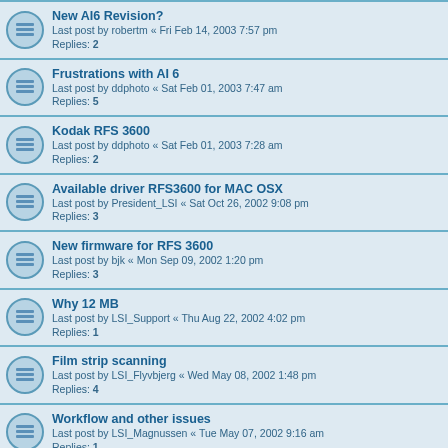New AI6 Revision? Last post by robertm « Fri Feb 14, 2003 7:57 pm Replies: 2
Frustrations with AI 6 Last post by ddphoto « Sat Feb 01, 2003 7:47 am Replies: 5
Kodak RFS 3600 Last post by ddphoto « Sat Feb 01, 2003 7:28 am Replies: 2
Available driver RFS3600 for MAC OSX Last post by President_LSI « Sat Oct 26, 2002 9:08 pm Replies: 3
New firmware for RFS 3600 Last post by bjk « Mon Sep 09, 2002 1:20 pm Replies: 3
Why 12 MB Last post by LSI_Support « Thu Aug 22, 2002 4:02 pm Replies: 1
Film strip scanning Last post by LSI_Flyvbjerg « Wed May 08, 2002 1:48 pm Replies: 4
Workflow and other issues Last post by LSI_Magnussen « Tue May 07, 2002 9:16 am Replies: 1
RFS3600 H/W Conflict with Zio Smartmedia reader Last post by LSI_Support « Mon Mar 04, 2002 4:55 pm Replies: 2
Multiple scanning with RFS 3600 Last post by President_LSI « Fri Feb 15, 2002 1:07 am Replies: 1